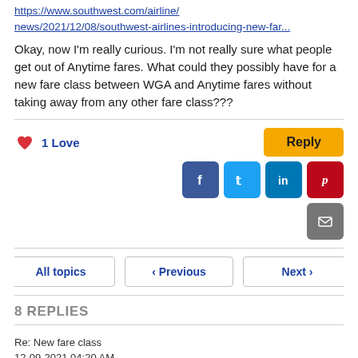https://www.southwest.com/airline/news/2021/12/08/southwest-airlines-introducing-new-far...
Okay, now I'm really curious. I'm not really sure what people get out of Anytime fares. What could they possibly have for a new fare class between WGA and Anytime fares without taking away from any other fare class???
1 Love
Reply
[Figure (infographic): Social share buttons: Facebook (blue), Twitter (light blue), LinkedIn (dark cyan), Pinterest (red), Email (gray)]
All topics  < Previous  Next >
8 REPLIES
Re: New fare class
12-09-2021 04:20 AM